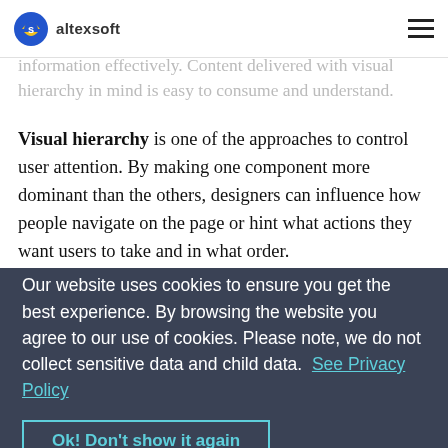altexsoft
importance. If visual design is a way to communicate information, visual hierarchy is about communicating this information effectively. Content delivered with visual hierarchy in mind is easy to consume and understand.
Visual hierarchy is one of the approaches to control user attention. By making one component more dominant than the others, designers can influence how people navigate on the page or hint what actions they want users to take and in what order.
Our website uses cookies to ensure you get the best experience. By browsing the website you agree to our use of cookies. Please note, we do not collect sensitive data and child data.  See Privacy Policy
Gestalt psychology, founded in the 20th century in Austria and Germany, provided the foundation for the modern study of perception. In short, Gestaltists studied how humans recognize and interpret sensory information. They